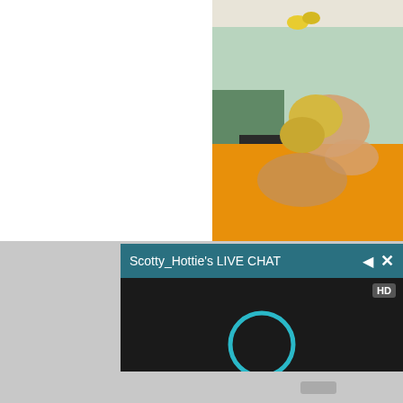[Figure (photo): Screenshot of a webpage showing a photo of a blonde woman on an orange bed with a green/plant background on the right half, and a live chat popup overlay at the bottom labeled Scotty_Hottie's LIVE CHAT with HD video loading area]
Scotty_Hottie's LIVE CHAT
HD